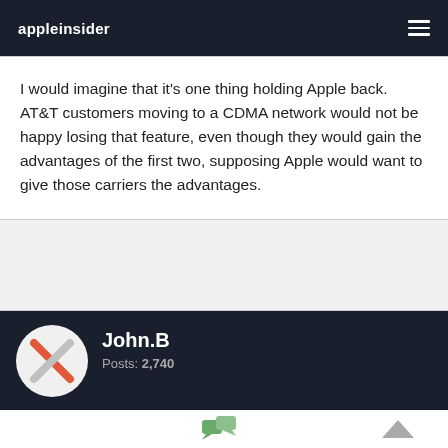appleinsider
I would imagine that it's one thing holding Apple back. AT&T customers moving to a CDMA network would not be happy losing that feature, even though they would gain the advantages of the first two, supposing Apple would want to give those carriers the advantages.
John.B
Posts: 2,740
July 12, 2010 12:45PM
Quote:
Originally Posted by melgross